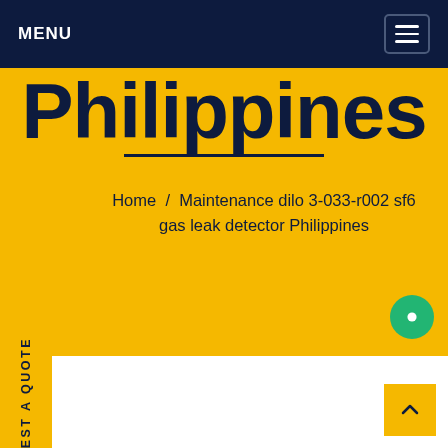MENU
Philippines
Home / Maintenance dilo 3-033-r002 sf6 gas leak detector Philippines
REQUEST A QUOTE